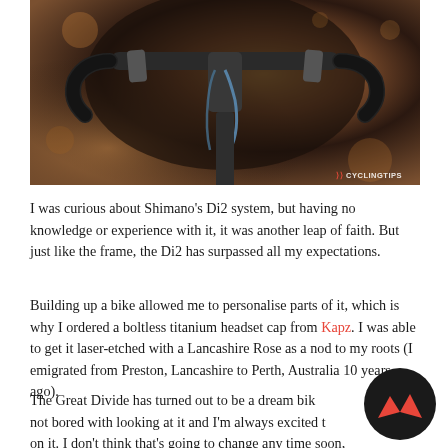[Figure (photo): Close-up photograph of a bicycle handlebar and stem area, with dark frame components visible against a warm reddish-brown earthy background. A CYCLINGTIPS watermark appears in the bottom right corner.]
I was curious about Shimano's Di2 system, but having no knowledge or experience with it, it was another leap of faith. But just like the frame, the Di2 has surpassed all my expectations.
Building up a bike allowed me to personalise parts of it, which is why I ordered a boltless titanium headset cap from Kapz. I was able to get it laser-etched with a Lancashire Rose as a nod to my roots (I emigrated from Preston, Lancashire to Perth, Australia 10 years ago).
The Great Divide has turned out to be a dream bike… not bored with looking at it and I'm always excited to ride on it. I don't think that's going to change any time soon,
[Figure (logo): CyclingTips logo: dark circular badge with red geometric mountain/chevron shapes inside.]